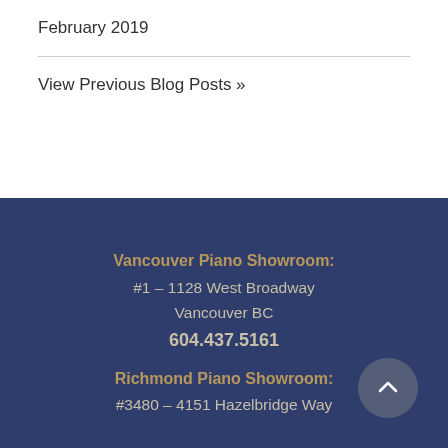February 2019
View Previous Blog Posts »
Vancouver Piano Showroom:
#1 – 1128 West Broadway
Vancouver BC
604.437.5161
Richmond Piano Showroom:
#3480 – 4151 Hazelbridge Way